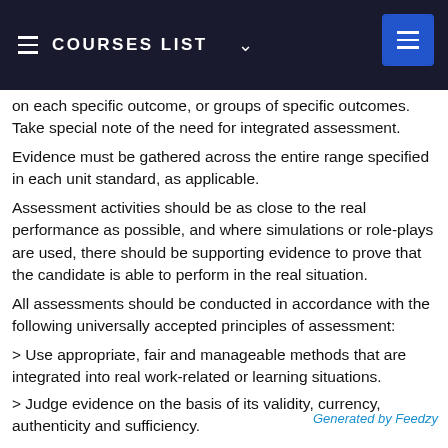COURSES LIST
on each specific outcome, or groups of specific outcomes. Take special note of the need for integrated assessment.
Evidence must be gathered across the entire range specified in each unit standard, as applicable.
Assessment activities should be as close to the real performance as possible, and where simulations or role-plays are used, there should be supporting evidence to prove that the candidate is able to perform in the real situation.
All assessments should be conducted in accordance with the following universally accepted principles of assessment:
> Use appropriate, fair and manageable methods that are integrated into real work-related or learning situations.
> Judge evidence on the basis of its validity, currency, authenticity and sufficiency.